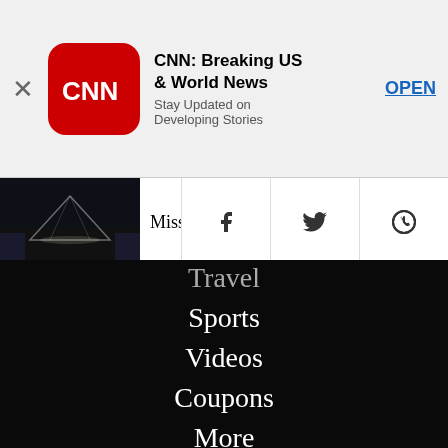[Figure (screenshot): CNN app advertisement banner with red CNN logo icon, bold title 'CNN: Breaking US & World News', subtitle 'Stay Updated on Developing Stories', and blue OPEN button]
Miss art museums? The Louv
Travel
Sports
Videos
Coupons
More
[Figure (logo): CNN Style logo: red CNN box followed by 'style' in white serif font]
FOLLOW CNN
[Figure (illustration): Social media icons: Facebook, Twitter, Instagram]